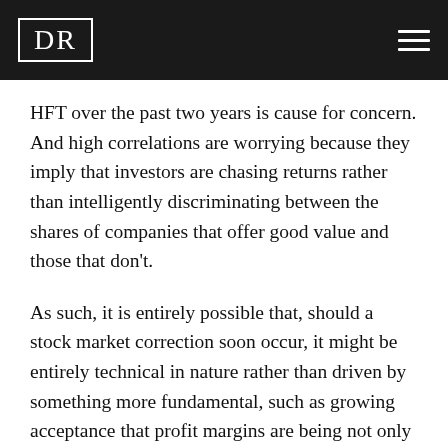DR
HFT over the past two years is cause for concern. And high correlations are worrying because they imply that investors are chasing returns rather than intelligently discriminating between the shares of companies that offer good value and those that don't.
As such, it is entirely possible that, should a stock market correction soon occur, it might be entirely technical in nature rather than driven by something more fundamental, such as growing acceptance that profit margins are being not only squeezed but crushed. But as our own investment process is fundamental in nature, we are inclined to see the greatest significance in that area and merely note up